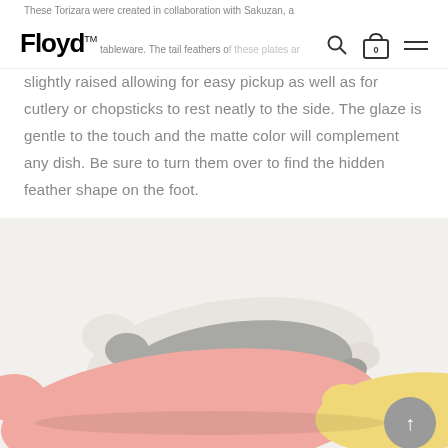Floyd™ — tableware brand logo and navigation
These Torizara were created in collaboration with Sakuzan, a renowned Japanese tableware. The tail feathers of these plates are slightly raised allowing for easy pickup as well as for cutlery or chopsticks to rest neatly to the side. The glaze is gentle to the touch and the matte color will complement any dish. Be sure to turn them over to find the hidden feather shape on the foot.
[Figure (photo): Bird-shaped ceramic plates (Torizara) in beige/gray stack, pink, and yellow colors arranged on a light background]